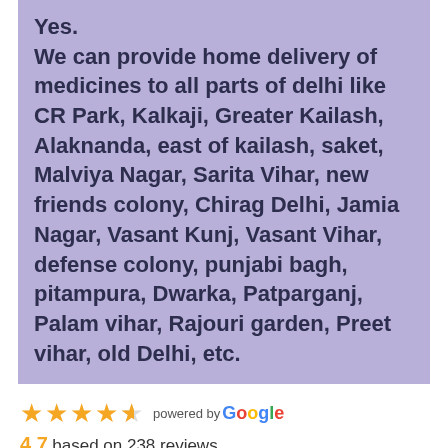Yes.
We can provide home delivery of medicines to all parts of delhi like CR Park, Kalkaji, Greater Kailash, Alaknanda, east of kailash, saket, Malviya Nagar, Sarita Vihar, new friends colony, Chirag Delhi, Jamia Nagar, Vasant Kunj, Vasant Vihar, defense colony, punjabi bagh, pitampura, Dwarka, Patparganj, Palam vihar, Rajouri garden, Preet vihar, old Delhi, etc.
4.7 based on 238 reviews.
[Figure (other): Google reviews rating widget showing 4.5 stars out of 5, powered by Google. Rating: 4.7 based on 238 reviews.]
[Figure (other): Facebook reviews rating widget showing 5 blue stars, powered by facebook.]